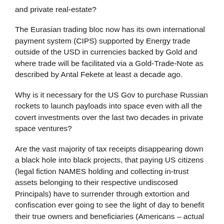and private real-estate?
The Eurasian trading bloc now has its own international payment system (CIPS) supported by Energy trade outside of the USD in currencies backed by Gold and where trade will be facilitated via a Gold-Trade-Note as described by Antal Fekete at least a decade ago.
Why is it necessary for the US Gov to purchase Russian rockets to launch payloads into space even with all the covert investments over the last two decades in private space ventures?
Are the vast majority of tax receipts disappearing down a black hole into black projects, that paying US citizens (legal fiction NAMES holding and collecting in-trust assets belonging to their respective undiscosed Principals) have to surrender through extortion and confiscation ever going to see the light of day to benefit their true owners and beneficiaries (Americans – actual men/women) that do the work to earn that value?
Are the so-called elected members ever going to come clean and return this confiscated property back to their true